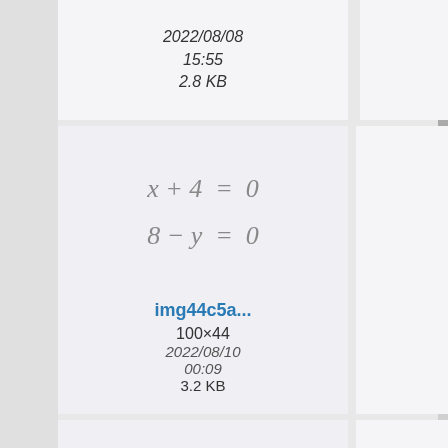[Figure (screenshot): File browser grid showing math formula images with filenames, dimensions, dates and file sizes. Top row shows partial cells with dates 2022/08/08 15:55 2.8 KB and 2022/08/11 10:15 3 KB. Second row shows image previews: x+4=0, 8-y=0 (left cell) and 9,90 (right cell), with filenames img44c5a... (100×44, 2022/08/10 00:09, 3.2 KB) and img44d68... (36×16, 2022/08/08 16:15, 3 KB). Third row shows x_2^3 ≠ x_3^2 (left cell) and ∇ (right cell) with filenames img46f70f... (60×21, 2022/08/09 13:31) and img47c28f... (14×14, 2022/08/10 07:04).]